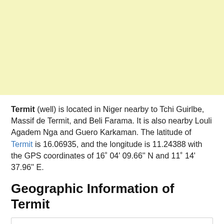[Figure (map): Light yellow map area showing the geographic region around Termit, Niger]
Termit (well) is located in Niger nearby to Tchi Guirlbe, Massif de Termit, and Beli Farama. It is also nearby Louli Agadem Nga and Guero Karkaman. The latitude of Termit is 16.06935, and the longitude is 11.24388 with the GPS coordinates of 16˚ 04' 09.66'' N and 11˚ 14' 37.96'' E.
Geographic Information of Termit
| Place Name |  |
| --- | --- |
| Place Name | Termit |